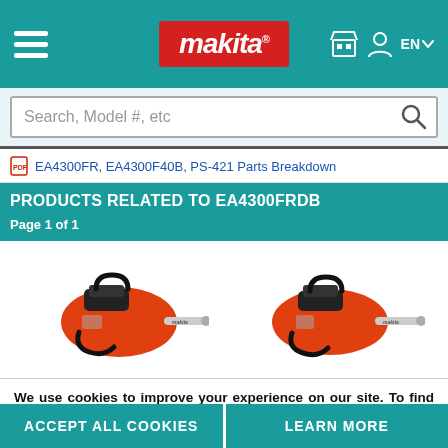[Figure (screenshot): Makita website header with teal background, hamburger menu on left, Makita red logo in center, store icon, user icon, and EN language selector on right]
[Figure (screenshot): Search bar with placeholder text 'Search, Model #, etc' and magnifying glass icon on right]
EA4300FR, EA4300F40B, PS-421 Parts Breakdown
PRODUCTS RELATED TO EA4300FRDB
Page 1 of 1
[Figure (photo): Two Makita orange chainsaws with guide bars displayed side by side on white background]
We use cookies to improve your experience on our site. To find out more, review our privacy policy under "Web Browser Cookies"
ACCEPT ALL COOKIES   LEARN MORE